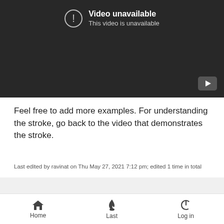[Figure (screenshot): YouTube video player showing 'Video unavailable - This video is unavailable' error message on dark background with YouTube logo in bottom right corner]
Feel free to add more examples. For understanding the stroke, go back to the video that demonstrates the stroke.
Last edited by ravinat on Thu May 27, 2021 7:12 pm; edited 1 time in total
app_engine, Usha and BC like this post
Home  Last  Log in